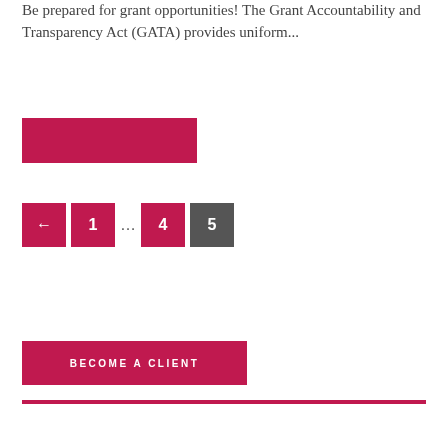Be prepared for grant opportunities! The Grant Accountability and Transparency Act (GATA) provides uniform...
[Figure (other): Red rectangular button/image block]
← 1 … 4 5 (pagination controls)
BECOME A CLIENT